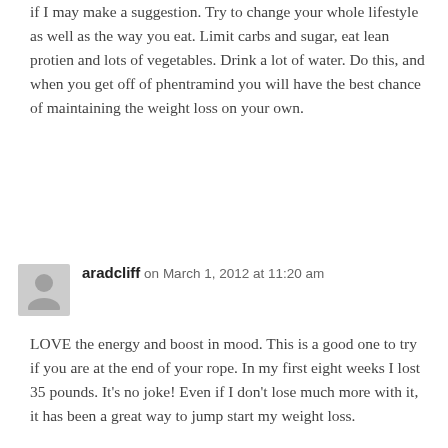if I may make a suggestion. Try to change your whole lifestyle as well as the way you eat. Limit carbs and sugar, eat lean protien and lots of vegetables. Drink a lot of water. Do this, and when you get off of phentramind you will have the best chance of maintaining the weight loss on your own.
aradcliff on March 1, 2012 at 11:20 am
LOVE the energy and boost in mood. This is a good one to try if you are at the end of your rope. In my first eight weeks I lost 35 pounds. It's no joke! Even if I don't lose much more with it, it has been a great way to jump start my weight loss.